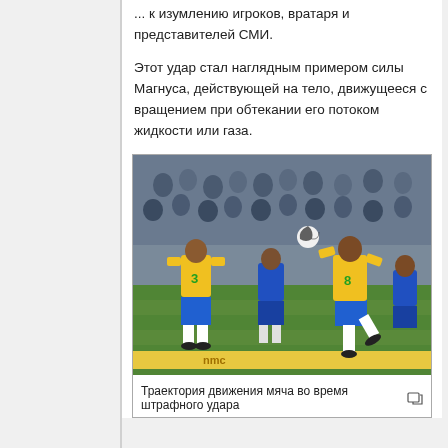... к изумлению игроков, вратаря и представителей СМИ.
Этот удар стал наглядным примером силы Магнуса, действующей на тело, движущееся с вращением при обтекании его потоком жидкости или газа.
[Figure (photo): A soccer match photo showing players in yellow Brazil jerseys (numbers 3 and 8) and blue opponent jerseys, with a ball in the air, crowd in the background.]
Траектория движения мяча во время штрафного удара